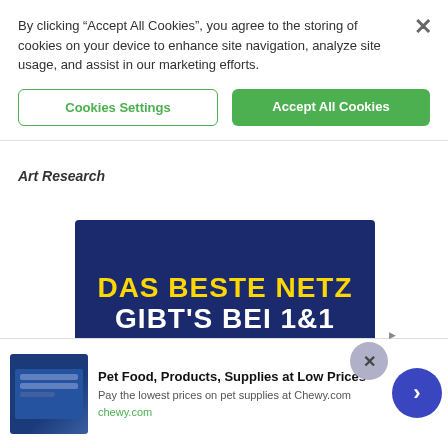By clicking “Accept All Cookies”, you agree to the storing of cookies on your device to enhance site navigation, analyze site usage, and assist in our marketing efforts.
Cookies Settings
Accept All Cookies
Art Research
[Figure (illustration): Advertisement banner with dark blue background. Bold yellow text reads 'DAS BESTE NETZ' and white text reads 'GIBT’S BEI 1&1']
[Figure (illustration): Bottom advertisement for Pet Food, Products, Supplies at Low Prices - Chewy.com. Shows 'Pay the lowest prices on pet supplies at Chewy.com' and chewy.com URL. Has a navigation arrow button.]